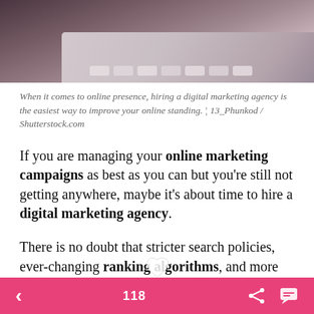[Figure (photo): Blurred photo of a laptop keyboard on a wooden desk, seen from a slight angle, with soft warm tones.]
When it comes to online presence, hiring a digital marketing agency is the easiest way to improve your online standing. ¦ 13_Phunkod / Shutterstock.com
If you are managing your online marketing campaigns as best as you can but you're still not getting anywhere, maybe it's about time to hire a digital marketing agency.
There is no doubt that stricter search policies, ever-changing ranking algorithms, and more sites battling over the top search ranking spots have made it more difficult for businesses to stay ahead of the game. However, this issue could be easily rectified by hiring
118